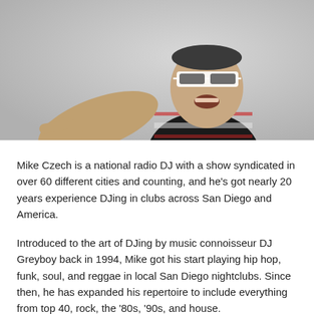[Figure (photo): A man wearing white-framed sunglasses and a black and white striped shirt with red accents, smiling and pointing toward the camera with his right hand against a light gray background.]
Mike Czech is a national radio DJ with a show syndicated in over 60 different cities and counting, and he's got nearly 20 years experience DJing in clubs across San Diego and America.
Introduced to the art of DJing by music connoisseur DJ Greyboy back in 1994, Mike got his start playing hip hop, funk, soul, and reggae in local San Diego nightclubs. Since then, he has expanded his repertoire to include everything from top 40, rock, the '80s, '90s, and house.